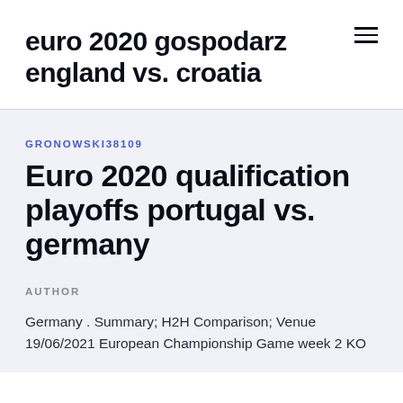euro 2020 gospodarz england vs. croatia
GRONOWSKI38109
Euro 2020 qualification playoffs portugal vs. germany
AUTHOR
Germany . Summary; H2H Comparison; Venue 19/06/2021 European Championship Game week 2 KO